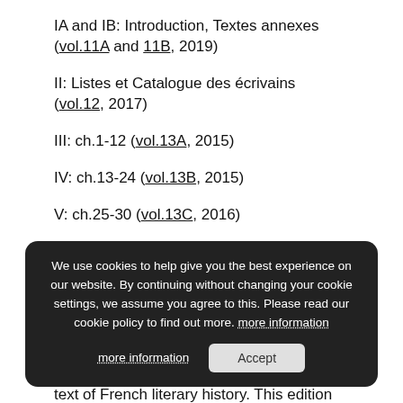IA and IB: Introduction, Textes annexes (vol.11A and 11B, 2019)
II: Listes et Catalogue des écrivains (vol.12, 2017)
III: ch.1-12 (vol.13A, 2015)
IV: ch.13-24 (vol.13B, 2015)
V: ch.25-30 (vol.13C, 2016)
VI: ch.31-39 (vol.13D, 2016)
We use cookies to help give you the best experience on our website. By continuing without changing your cookie settings, we assume you agree to this. Please read our cookie policy to find out more. more information  Accept
The Siècle de Louis XIV is the foundational text of French literary history. This edition